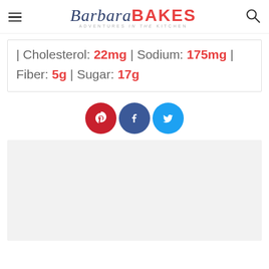Barbara BAKES — ADVENTURES in the KITCHEN
| Cholesterol: 22mg | Sodium: 175mg | Fiber: 5g | Sugar: 17g
[Figure (infographic): Social sharing buttons: Pinterest (red circle with P icon), Facebook (blue circle with f icon), Twitter (light blue circle with bird icon)]